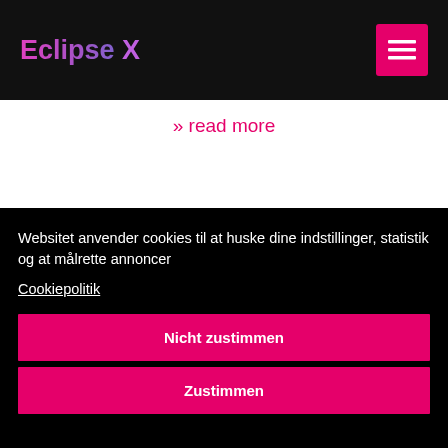Eclipse X
» read more
[Figure (illustration): Coffee cup icon in dark gray, consisting of a mug shape with handle and a saucer/base line underneath]
Websitet anvender cookies til at huske dine indstillinger, statistik og at målrette annoncer
Cookiepolitik
Nicht zustimmen
Zustimmen